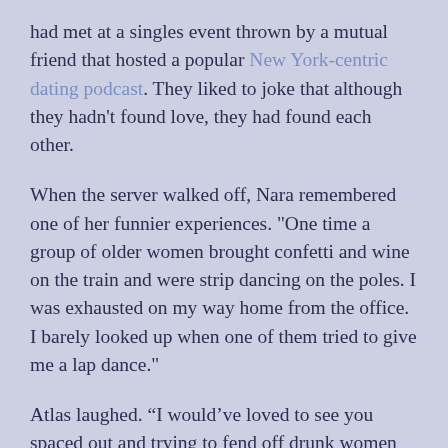had met at a singles event thrown by a mutual friend that hosted a popular New York-centric dating podcast. They liked to joke that although they hadn't found love, they had found each other.
When the server walked off, Nara remembered one of her funnier experiences. "One time a group of older women brought confetti and wine on the train and were strip dancing on the poles. I was exhausted on my way home from the office. I barely looked up when one of them tried to give me a lap dance."
Atlas laughed. “I would’ve loved to see you spaced out and trying to fend off drunk women giving you a lap dance.”
"And I just realized I've never even told anyone about it."